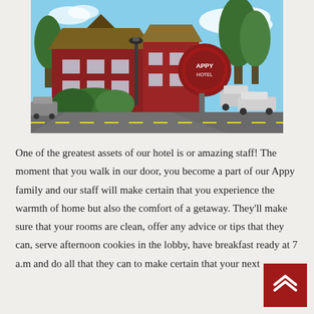[Figure (photo): Exterior photo of the Appy Hotel, showing a lodge-style building with wooden accents, a circular sign, green hedges, parked cars, and trees under a blue sky.]
One of the greatest assets of our hotel is or amazing staff! The moment that you walk in our door, you become a part of our Appy family and our staff will make certain that you experience the warmth of home but also the comfort of a getaway. They'll make sure that your rooms are clean, offer any advice or tips that they can, serve afternoon cookies in the lobby, have breakfast ready at 7 a.m and do all that they can to make certain that your next